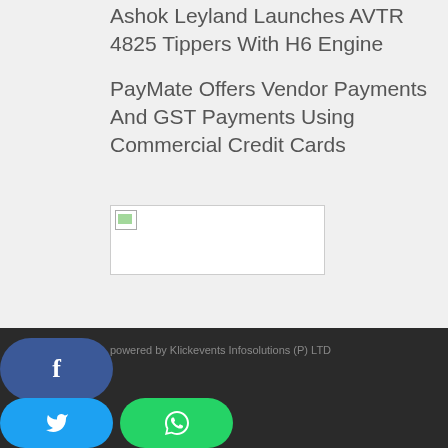Ashok Leyland Launches AVTR 4825 Tippers With H6 Engine
PayMate Offers Vendor Payments And GST Payments Using Commercial Credit Cards
[Figure (photo): Broken/missing image placeholder with white background and border]
Newsonnets.in - powered by Klickevents Infosolutions (P) LTD